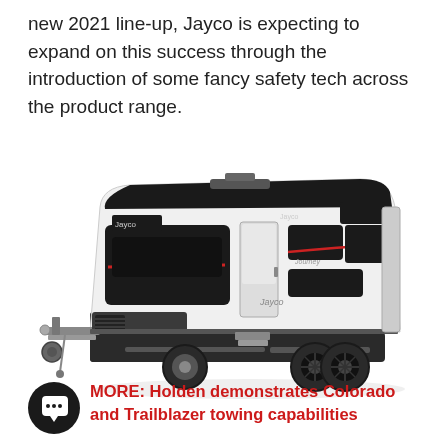new 2021 line-up, Jayco is expecting to expand on this success through the introduction of some fancy safety tech across the product range.
[Figure (photo): A white Jayco caravan with black accents and a red stripe, shown in a three-quarter view on a white background. The caravan has dual rear wheels, a front tow hitch with jockey wheel, and Jayco branding on the side.]
MORE: Holden demonstrates Colorado and Trailblazer towing capabilities